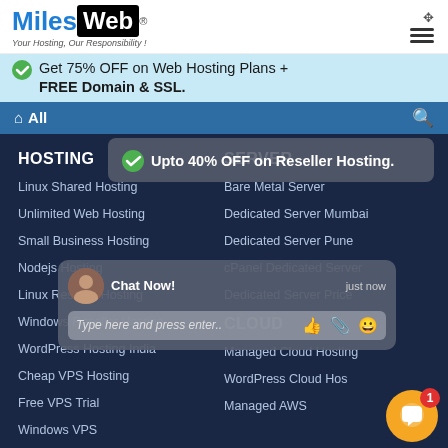[Figure (logo): MilesWeb logo with tagline 'Your Hosting, Our Responsibility!']
Get 75% OFF on Web Hosting Plans + FREE Domain & SSL.
All
HOSTING
SERVER
Upto 40% OFF on Reseller Hosting.
Linux Shared Hosting
Bare Metal Server
Unlimited Web Hosting
Dedicated Server Mumbai
Small Business Hosting
Dedicated Server Pune
Nodejs Hosting
cPanel Dedicated Server
Linux Reseller Hosting
Dedicated Server Price
Chat Now!   just now
Type here and press enter..
Windows Reseller Hosting
CLOUD
WordPress Hosting India
Managed Cloud Hosting
Cheap VPS Hosting
WordPress Cloud Hos
Free VPS Trial
Managed AWS
Windows VPS